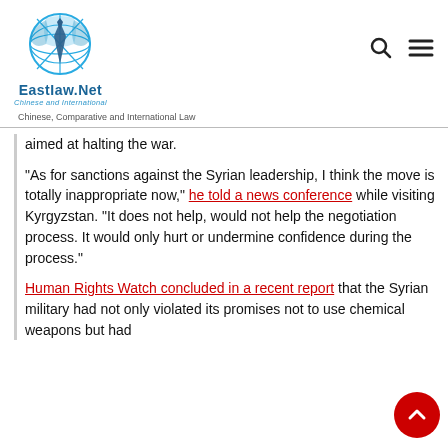[Figure (logo): EastLaw.Net logo — globe with necktie icon, blue tones, text 'EastLaw.Net' and subtitle 'Chinese and International']
Chinese, Comparative and International Law
aimed at halting the war.
“As for sanctions against the Syrian leadership, I think the move is totally inappropriate now,” he told a news conference while visiting Kyrgyzstan. “It does not help, would not help the negotiation process. It would only hurt or undermine confidence during the process.”
Human Rights Watch concluded in a recent report that the Syrian military had not only violated its promises not to use chemical weapons but had